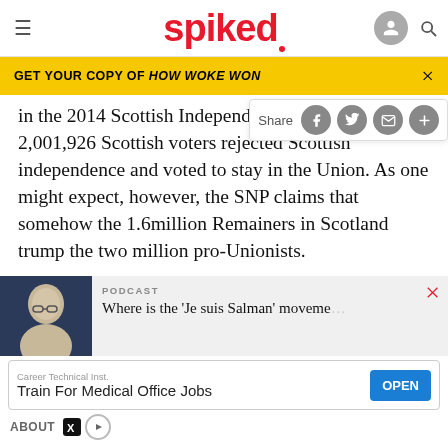spiked
GET YOUR COPY OF HOW WOKE WON
in the 2014 Scottish Independence referendum, 2,001,926 Scottish voters rejected Scottish independence and voted to stay in the Union. As one might expect, however, the SNP claims that somehow the 1.6million Remainers in Scotland trump the two million pro-Unionists.
[Figure (photo): Thumbnail photo of a man with glasses (appears to be Salman Rushdie) against a dark background]
PODCAST Where is the 'Je suis Salman' moveme...
Career Technical Inst. Train For Medical Office Jobs OPEN
ABOUT